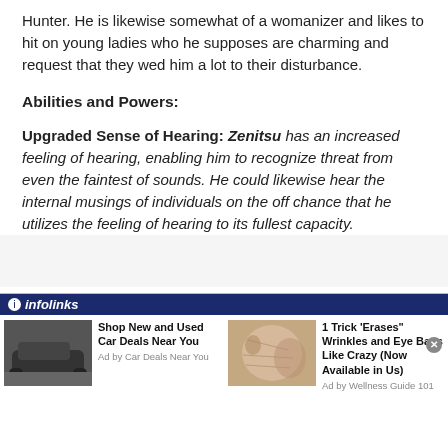Hunter. He is likewise somewhat of a womanizer and likes to hit on young ladies who he supposes are charming and request that they wed him a lot to their disturbance.
Abilities and Powers:
Upgraded Sense of Hearing: Zenitsu has an increased feeling of hearing, enabling him to recognize threat from even the faintest of sounds. He could likewise hear the internal musings of individuals on the off chance that he utilizes the feeling of hearing to its fullest capacity.
[Figure (other): Infolinks advertisement banner with two ad items: 'Shop New and Used Car Deals Near You' (Ad by Car Deals Near You) with a car photo, and '1 Trick Erases Wrinkles and Eye Bags Like Crazy (Now Available in Us)' (Ad by Wellness Guide 101) with a close-up face photo.]